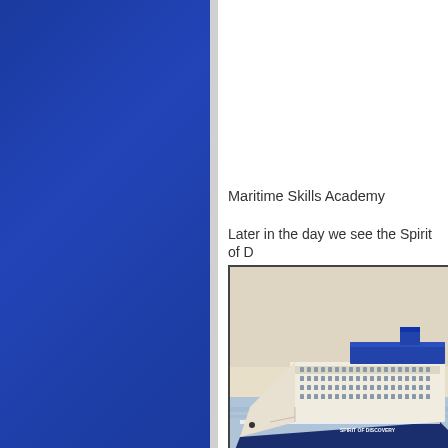[Figure (illustration): Blue decorative sidebar panel on the left side of the page]
Maritime Skills Academy
Later in the day we see the Spirit of D
[Figure (photo): Photograph of a large cruise ship named Spirit of Discovery at sea, with blue hull and multiple decks visible]